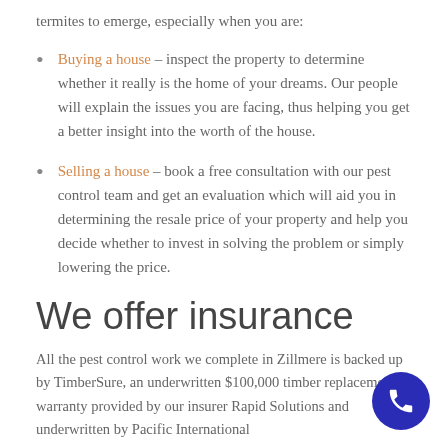termites to emerge, especially when you are:
Buying a house – inspect the property to determine whether it really is the home of your dreams. Our people will explain the issues you are facing, thus helping you get a better insight into the worth of the house.
Selling a house – book a free consultation with our pest control team and get an evaluation which will aid you in determining the resale price of your property and help you decide whether to invest in solving the problem or simply lowering the price.
We offer insurance
All the pest control work we complete in Zillmere is backed up by TimberSure, an underwritten $100,000 timber replacement warranty provided by our insurer Rapid Solutions and underwritten by Pacific International